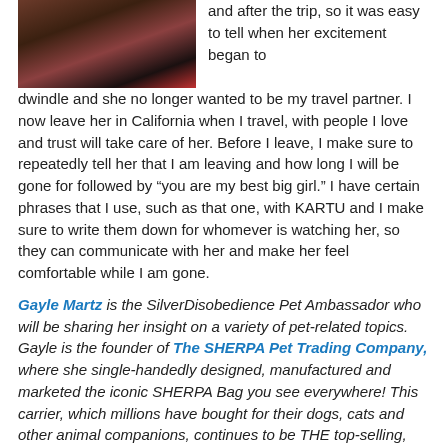[Figure (photo): Photo of a person (likely Gayle Martz) with a dog, shown in the upper left corner of the page. The image is partially cropped.]
and after the trip, so it was easy to tell when her excitement began to dwindle and she no longer wanted to be my travel partner. I now leave her in California when I travel, with people I love and trust will take care of her. Before I leave, I make sure to repeatedly tell her that I am leaving and how long I will be gone for followed by "you are my best big girl." I have certain phrases that I use, such as that one, with KARTU and I make sure to write them down for whomever is watching her, so they can communicate with her and make her feel comfortable while I am gone.
Gayle Martz is the SilverDisobedience Pet Ambassador who will be sharing her insight on a variety of pet-related topics. Gayle is the founder of The SHERPA Pet Trading Company, where she single-handedly designed, manufactured and marketed the iconic SHERPA Bag you see everywhere! This carrier, which millions have bought for their dogs, cats and other animal companions, continues to be THE top-selling, prize-winning, globally-popularly soft-sided pet carrier. Further, it is because of Gayle's advocacy and entrepreneurship that pet travel on airlines is now possible and common. Gayle's the author of "IT'S